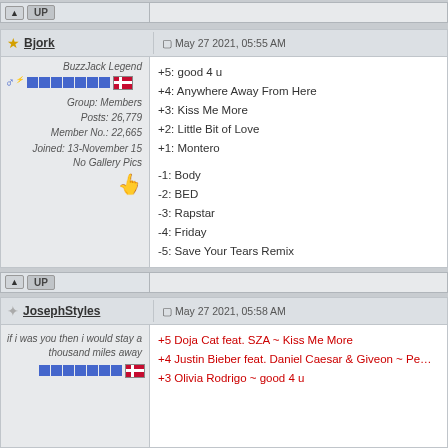UP toolbar button
Bjork | May 27 2021, 05:55 AM
BuzzJack Legend | Group: Members | Posts: 26,779 | Member No.: 22,665 | Joined: 13-November 15 | No Gallery Pics
+5: good 4 u
+4: Anywhere Away From Here
+3: Kiss Me More
+2: Little Bit of Love
+1: Montero
-1: Body
-2: BED
-3: Rapstar
-4: Friday
-5: Save Your Tears Remix
UP toolbar button
JosephStyles | May 27 2021, 05:58 AM
if i was you then i would stay a thousand miles away
+5 Doja Cat feat. SZA ~ Kiss Me More
+4 Justin Bieber feat. Daniel Caesar & Giveon ~ Pe...
+3 Olivia Rodrigo ~ good 4 u